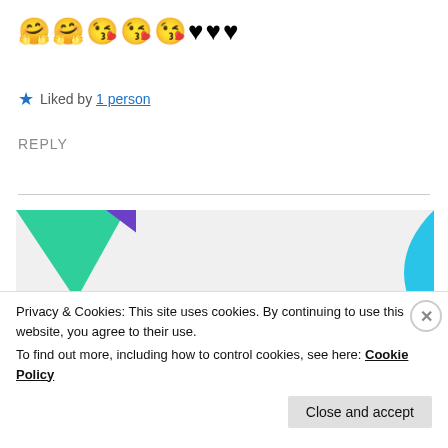🤗🤗😘😘😘♥♥♥
★ Liked by 1 person
REPLY
[Figure (illustration): Advertisement banner with green triangle shape top-left, blue curved shape top-right, bold text 'How to start selling subscriptions online', and a purple button at bottom.]
Privacy & Cookies: This site uses cookies. By continuing to use this website, you agree to their use.
To find out more, including how to control cookies, see here: Cookie Policy
Close and accept